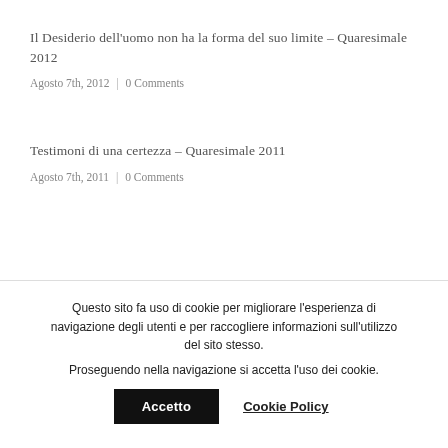Il Desiderio dell'uomo non ha la forma del suo limite – Quaresimale 2012
Agosto 7th, 2012 | 0 Comments
Testimoni di una certezza – Quaresimale 2011
Agosto 7th, 2011 | 0 Comments
Questo sito fa uso di cookie per migliorare l'esperienza di navigazione degli utenti e per raccogliere informazioni sull'utilizzo del sito stesso. Proseguendo nella navigazione si accetta l'uso dei cookie.